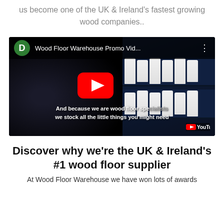us become one of the UK & Ireland's fastest growing wood companies..
[Figure (screenshot): Embedded YouTube video thumbnail for 'Wood Floor Warehouse Promo Vid...' showing shelves of products with a red YouTube play button in the center. Subtitle text reads: 'And because we are wood floor specialists we stock all the little things you might need']
Discover why we're the UK & Ireland's #1 wood floor supplier
At Wood Floor Warehouse we have won lots of awards